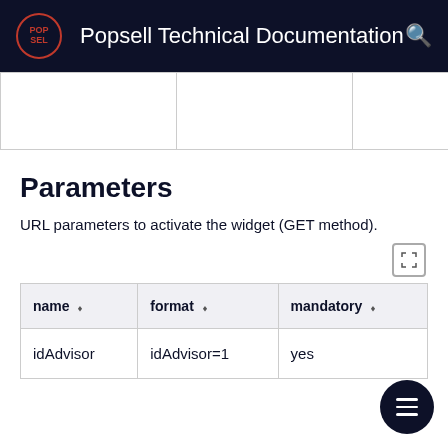Popsell Technical Documentation
|  |  |  | in the widget |
Parameters
URL parameters to activate the widget (GET method).
| name | format | mandatory |
| --- | --- | --- |
| idAdvisor | idAdvisor=1 | yes |